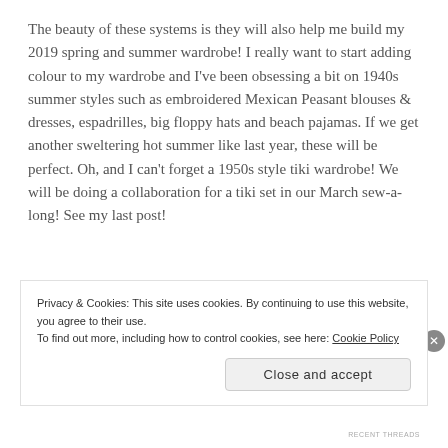The beauty of these systems is they will also help me build my 2019 spring and summer wardrobe! I really want to start adding colour to my wardrobe and I've been obsessing a bit on 1940s summer styles such as embroidered Mexican Peasant blouses & dresses, espadrilles, big floppy hats and beach pajamas. If we get another sweltering hot summer like last year, these will be perfect. Oh, and I can't forget a 1950s style tiki wardrobe! We will be doing a collaboration for a tiki set in our March sew-a-long! See my last post!
[Figure (photo): Two partial image thumbnails visible at the bottom of the main content area]
Privacy & Cookies: This site uses cookies. By continuing to use this website, you agree to their use.
To find out more, including how to control cookies, see here: Cookie Policy
Close and accept
RECENT THREADS